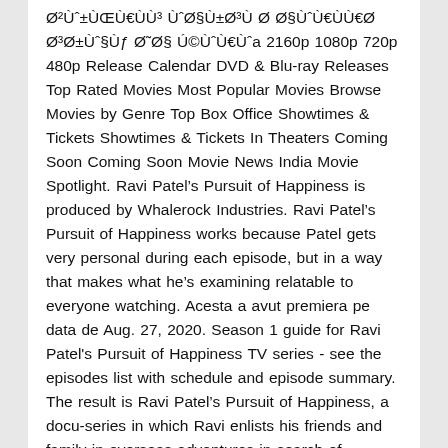ØºÙ€±ÙÙÙ؃ ÙØ§Ø±ØºÙ Ø Ø§ÙÙÙ€Ø ØºØ±ÙØ§Ùƒ Ø˜Ø§ Ú©ÙÙ€Ùa 2160p 1080p 720p 480p Release Calendar DVD & Blu-ray Releases Top Rated Movies Most Popular Movies Browse Movies by Genre Top Box Office Showtimes & Tickets Showtimes & Tickets In Theaters Coming Soon Coming Soon Movie News India Movie Spotlight. Ravi Patelâs Pursuit of Happiness is produced by Whalerock Industries. Ravi Patelâs Pursuit of Happiness works because Patel gets very personal during each episode, but in a way that makes what heâs examining relatable to everyone watching. Acesta a avut premiera pe data de Aug. 27, 2020. Season 1 guide for Ravi Patel's Pursuit of Happiness TV series - see the episodes list with schedule and episode summary. The result is Ravi Patelâs Pursuit of Happiness, a docu-series in which Ravi enlists his friends and family in overseas adventures in search of answers to lifeâs questions. Ravi Patelâs Pursuit of Happiness poster & photos. The definitive site for Reviews, Trailers, Showtimes, and Tickets Watch Ravi Patel's Pursuit of Happiness Season 1 Episode 1 - Growing Old in Mexico Add to Watchlist With his mother